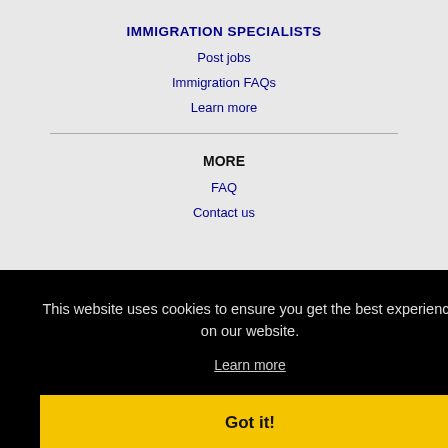IMMIGRATION SPECIALISTS
Post jobs
Immigration FAQs
Learn more
MORE
FAQ
Contact us
This website uses cookies to ensure you get the best experience on our website.
Learn more
Got it!
Bartlett, IL Jobs